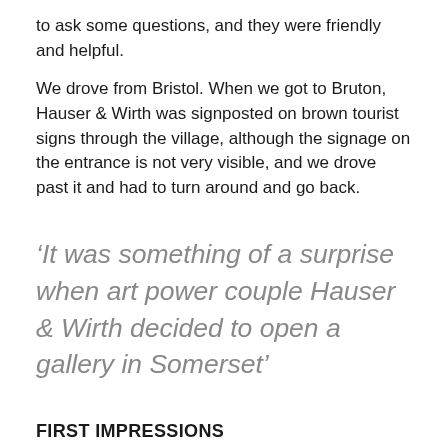to ask some questions, and they were friendly and helpful.
We drove from Bristol. When we got to Bruton, Hauser & Wirth was signposted on brown tourist signs through the village, although the signage on the entrance is not very visible, and we drove past it and had to turn around and go back.
‘It was something of a surprise when art power couple Hauser & Wirth decided to open a gallery in Somerset’
FIRST IMPRESSIONS
The buildings also give Hauser & Wirth Somerset a